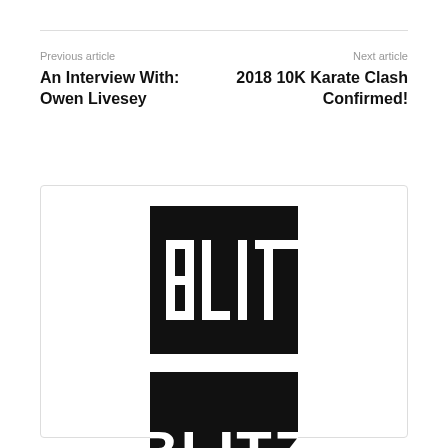Previous article
Next article
An Interview With: Owen Livesey
2018 10K Karate Clash Confirmed!
[Figure (logo): Blitz logo — white stencil-style text on black square background]
Blitz
https://www.blitzsport.com
Blitz, the UK's leading supplier of premium and approved martial arts equipment. Whether you're new to a specific martial arts discipline or an experienced professional, we stock an extensive range of products from top brands at competitive prices.